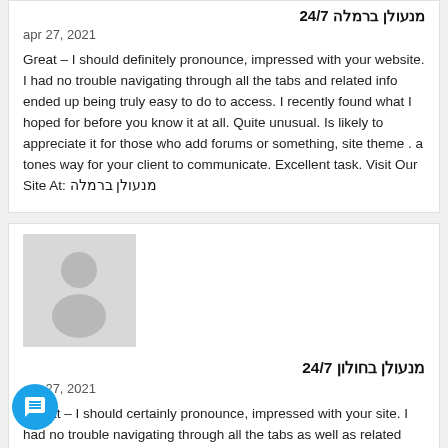מנעולן ברמלה 24/7
apr 27, 2021
Great – I should definitely pronounce, impressed with your website. I had no trouble navigating through all the tabs and related info ended up being truly easy to do to access. I recently found what I hoped for before you know it at all. Quite unusual. Is likely to appreciate it for those who add forums or something, site theme . a tones way for your client to communicate. Excellent task. Visit Our Site At: מנעולן ברמלה
מנעולן בחולון 24/7
apr 27, 2021
Gr eat – I should certainly pronounce, impressed with your site. I had no trouble navigating through all the tabs as well as related information ended up being truly simple to do to